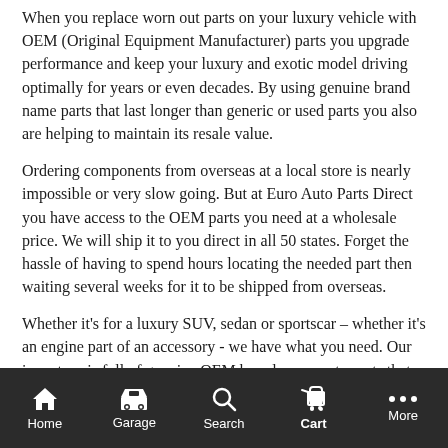When you replace worn out parts on your luxury vehicle with OEM (Original Equipment Manufacturer) parts you upgrade performance and keep your luxury and exotic model driving optimally for years or even decades. By using genuine brand name parts that last longer than generic or used parts you also are helping to maintain its resale value.
Ordering components from overseas at a local store is nearly impossible or very slow going. But at Euro Auto Parts Direct you have access to the OEM parts you need at a wholesale price. We will ship it to you direct in all 50 states. Forget the hassle of having to spend hours locating the needed part then waiting several weeks for it to be shipped from overseas.
Whether it's for a luxury SUV, sedan or sportscar – whether it's an engine part of an accessory - we have what you need. Our inventory is full of genuine OEM brand-name auto parts that are ready to ship direct, everything from fuel pumps, engine parts, wheel parts, bumpers and accessories to customize your
Home  Garage  Search  Cart  More